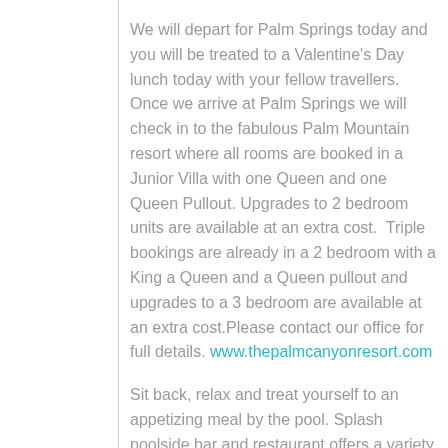We will depart for Palm Springs today and you will be treated to a Valentine's Day lunch today with your fellow travellers. Once we arrive at Palm Springs we will check in to the fabulous Palm Mountain resort where all rooms are booked in a Junior Villa with one Queen and one Queen Pullout. Upgrades to 2 bedroom units are available at an extra cost.  Triple bookings are already in a 2 bedroom with a King a Queen and a Queen pullout and upgrades to a 3 bedroom are available at an extra cost.Please contact our office for full details. www.thepalmcanyonresort.com
Sit back, relax and treat yourself to an appetizing meal by the pool. Splash poolside bar and restaurant offers a variety of dishes to treat your tastebuds while you soak up the sun.